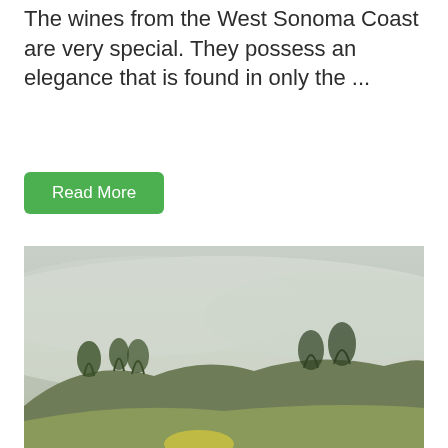The wines from the West Sonoma Coast are very special. They possess an elegance that is found in only the ...
Read More
[Figure (photo): A foggy vineyard landscape showing rows of grapevines on a hillside with mist and trees in the background.]
A Serious Wine: Napa’s Howell Mountain Cabernet
About a year ago, six of us piled into an SUV